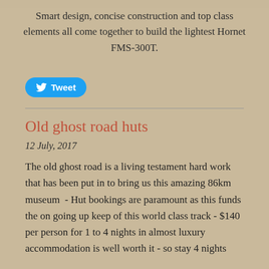Smart design, concise construction and top class elements all come together to build the lightest Hornet FMS-300T.
[Figure (other): Tweet button with Twitter bird icon]
Old ghost road huts
12 July, 2017
The old ghost road is a living testament hard work that has been put in to bring us this amazing 86km museum  - Hut bookings are paramount as this funds the on going up keep of this world class track - $140 per person for 1 to 4 nights in almost luxury accommodation is well worth it - so stay 4 nights